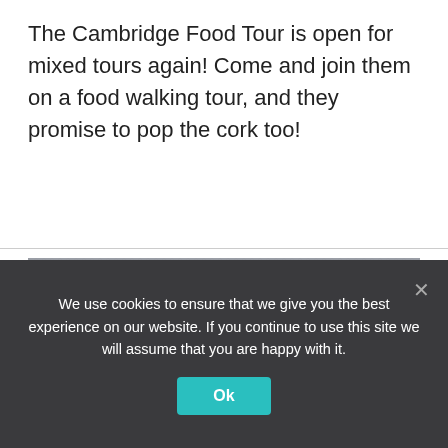The Cambridge Food Tour is open for mixed tours again! Come and join them on a food walking tour, and they promise to pop the cork too!
[Figure (photo): Close-up photo of a coffee drink in a dark cup with creamy foam on top, decorated with dark coffee bean patterns, placed on a grey textile surface next to a dark object]
We use cookies to ensure that we give you the best experience on our website. If you continue to use this site we will assume that you are happy with it.